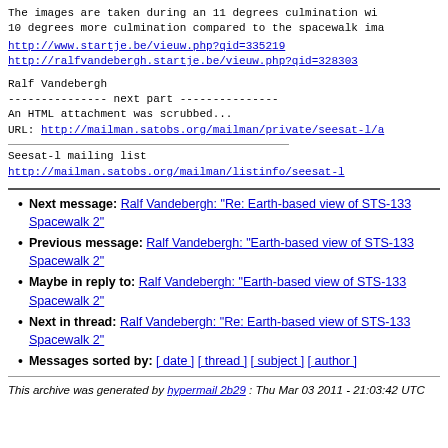The images are taken during an 11 degrees culmination with 10 degrees more culmination compared to the spacewalk image
http://www.startje.be/vieuw.php?qid=335219
http://ralfvandebergh.startje.be/vieuw.php?qid=328303
Ralf Vandebergh
--------------- next part ---------------
An HTML attachment was scrubbed...
URL: http://mailman.satobs.org/mailman/private/seesat-l/a
Seesat-l mailing list
http://mailman.satobs.org/mailman/listinfo/seesat-l
Next message: Ralf Vandebergh: "Re: Earth-based view of STS-133 Spacewalk 2"
Previous message: Ralf Vandebergh: "Earth-based view of STS-133 Spacewalk 2"
Maybe in reply to: Ralf Vandebergh: "Earth-based view of STS-133 Spacewalk 2"
Next in thread: Ralf Vandebergh: "Re: Earth-based view of STS-133 Spacewalk 2"
Messages sorted by: [ date ] [ thread ] [ subject ] [ author ]
This archive was generated by hypermail 2b29 : Thu Mar 03 2011 - 21:03:42 UTC